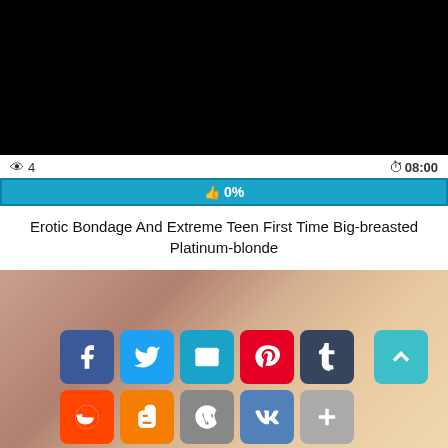[Figure (screenshot): Black video player area at top of page]
👁 4
⏱08:00
👍 0%
Erotic Bondage And Extreme Teen First Time Big-breasted Platinum-blonde
[Figure (photo): Adult content thumbnail image showing bedroom scene]
[Figure (infographic): Social share buttons: Facebook, Twitter, Email, Pinterest, Tumblr, Reddit, Blogger, WordPress, VK, More, and scroll-to-top button]